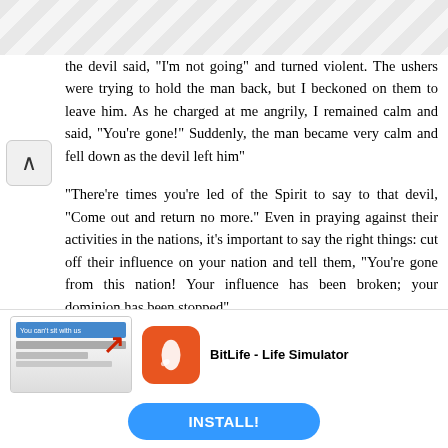[Figure (illustration): Decorative geometric pattern at the top of the page, grey diamond/chevron tessellation]
the devil said, 'I'm not going' and turned violent. The ushers were trying to hold the man back, but I beckoned on them to leave him. As he charged at me angrily, I remained calm and said, "You're gone!" Suddenly, the man became very calm and fell down as the devil left him"
"There're times you're led of the Spirit to say to that devil, "Come out and return no more." Even in praying against their activities in the nations, it's important to say the right things: cut off their influence on your nation and tell them, "You're gone from this nation! Your influence has been broken; your dominion has been stopped"
"We're triumphant; we're victorious; we're reigning through
[Figure (screenshot): Advertisement for BitLife - Life Simulator app. Shows ad banner with app icon, title 'BitLife - Life Simulator', and an INSTALL button.]